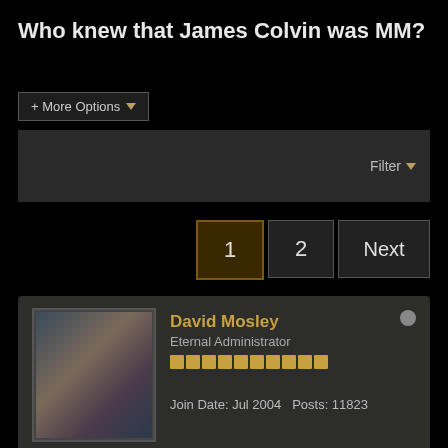Who knew that James Colvin was MM?
+ More Options ▾
Filter ▾
1  2  Next
David Mosley
Eternal Administrator
Join Date: Jul 2004  Posts: 11823
Who knew that James Colvin was MM?
08-24-2006, 05:07 PM
Mike, I've just finished reading the serialised version of The Wrecks of Time that appeared in NW 156-8 as credited to James Colvin, and I just wondered how or when did it become generally know (ie by your